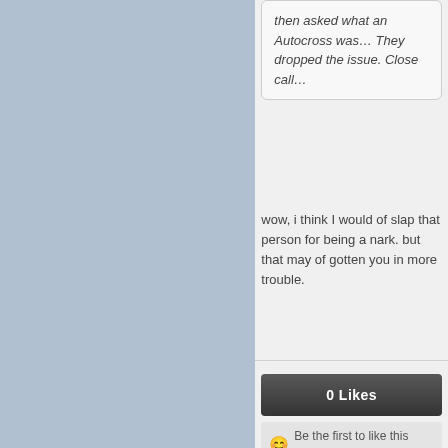then asked what an Autocross was… They dropped the issue. Close call…
wow, i think I would of slap that person for being a nark. but that may of gotten you in more trouble.
0 Likes
Be the first to like this post.
1. 95 200SX DE+T/ARP Rod & Head bolts/Calum ECU/tein ss/UR crank & G-spec wp pulley/jwt